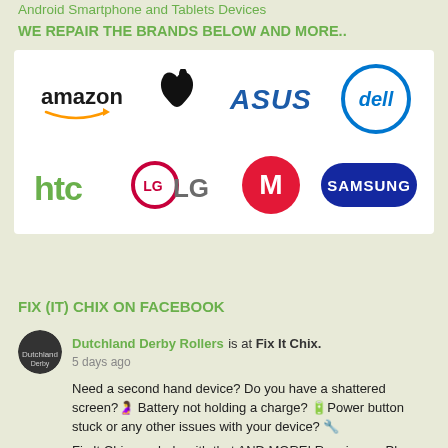Android Smartphone and Tablets Devices
WE REPAIR THE BRANDS BELOW AND MORE..
[Figure (logo): Brand logos: amazon, Apple, ASUS, Dell, htc, LG, Motorola, Samsung]
FIX (IT) CHIX ON FACEBOOK
Dutchland Derby Rollers is at Fix It Chix.
5 days ago
Need a second hand device? Do you have a shattered screen?🔨 Battery not holding a charge? 🔋Power button stuck or any other issues with your device? 🔧
Fix It Chix can help with that AND MORE! Repair your Phone, iPad, laptop and tablets with Fix It Chix!